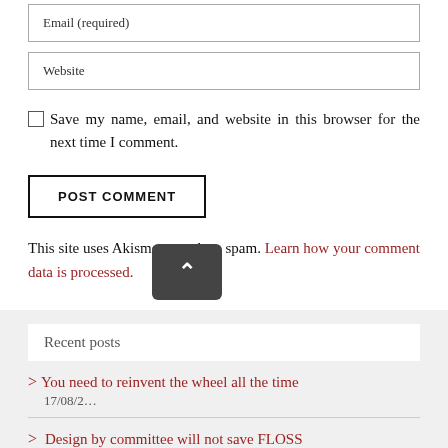Email (required)
Website
Save my name, email, and website in this browser for the next time I comment.
POST COMMENT
This site uses Akismet to reduce spam. Learn how your comment data is processed.
Recent posts
You need to reinvent the wheel all the time
17/08/2…
Design by committee will not save FLOSS